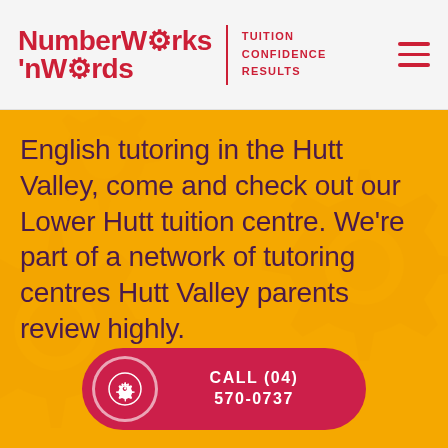NumberWorks 'nWords | TUITION CONFIDENCE RESULTS
English tutoring in the Hutt Valley, come and check out our Lower Hutt tuition centre. We're part of a network of tutoring centres Hutt Valley parents review highly.
[Figure (other): Red rounded button with gear icon: CALL (04) 570-0737]
[Figure (other): Purple rounded button with arrow icon: BOOK A FREE ASSESSMENT]